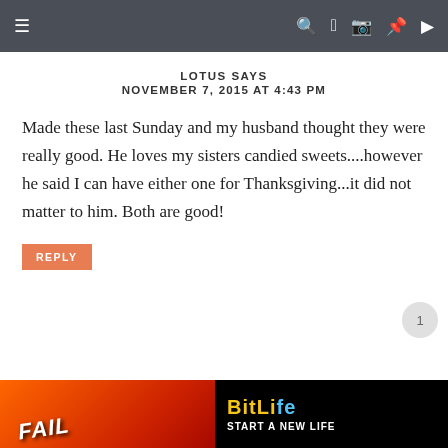≡  [search] [facebook] [instagram] [pinterest] [youtube]
LOTUS SAYS
NOVEMBER 7, 2015 AT 4:43 PM
Made these last Sunday and my husband thought they were really good. He loves my sisters candied sweets....however he said I can have either one for Thanksgiving...it did not matter to him. Both are good!
REPLY
[Figure (screenshot): Advertisement banner for BitLife game with 'FAIL' text and 'START A NEW LIFE' tagline on red/black background]